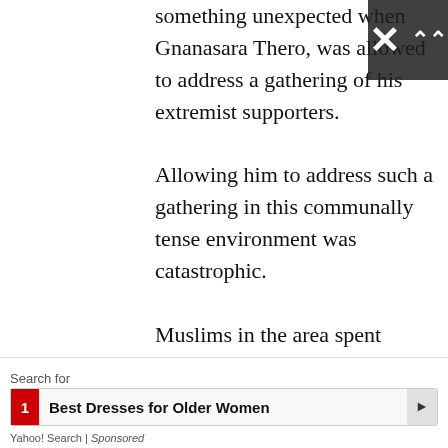something unexpected when Gnanasara Thero, was allowed to address a gathering of his extremist supporters. Allowing him to address such a gathering in this communally tense environment was catastrophic. Muslims in the area spent sleepless nights ever since they came to know that Gnanasara Thero, who does not represent mainstream Sinhalese Buddhists, was to address a public meeting as they were aware of his ability to incite innocent Sinhalese. As expected he addressed the gathering, incited the Sinhalese, wen...
Search for
1 Best Dresses for Older Women
Yahoo! Search | Sponsored